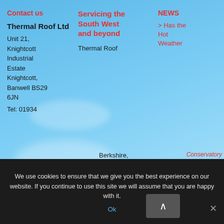Contact us
Thermal Roof Ltd
Unit 21, Knightcott Industrial Estate
Knightcott, Banwell BS29 6JN
Tel: 01934
Servicing the South West and beyond
Thermal Roof
NEWS
> Has the Hot Weather
Conservatory
[Figure (screenshot): Popup modal showing phone number 01934 824 005 with phone icon, email info@thermalroof.co.uk with envelope icon, and a blue CONTACT US button. Has an x close button at top left.]
We use cookies to ensure that we give you the best experience on our website. If you continue to use this site we will assume that you are happy with it.
Ok